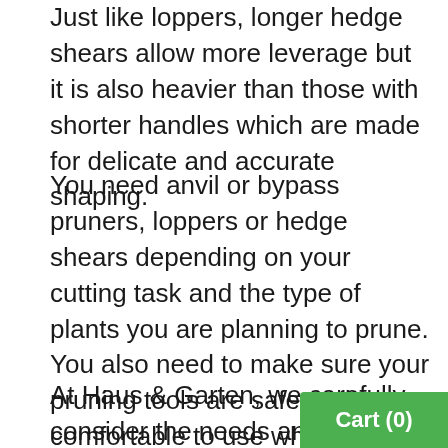Just like loppers, longer hedge shears allow more leverage but it is also heavier than those with shorter handles which are made for delicate and accurate shaping.
You need anvil or bypass pruners, loppers or hedge shears depending on your cutting task and the type of plants you are planning to prune. You also need to make sure your pruning tools are safe and comfortable to use whatever existing conditions you have.
At Haus & Garten, we carefully consider the needs and demands of our beginner and professional gardeners in order to provide premium-quality gardening hand tools that offer ergonomics, performance and du...